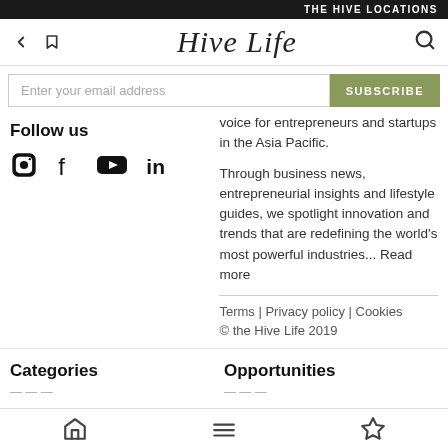THE HIVE LOCATIONS
Hive Life
Enter your email address
SUBSCRIBE
Follow us
voice for entrepreneurs and startups in the Asia Pacific.
Through business news, entrepreneurial insights and lifestyle guides, we spotlight innovation and trends that are redefining the world's most powerful industries... Read more
Terms | Privacy policy | Cookies
© the Hive Life 2019
Categories
Opportunities